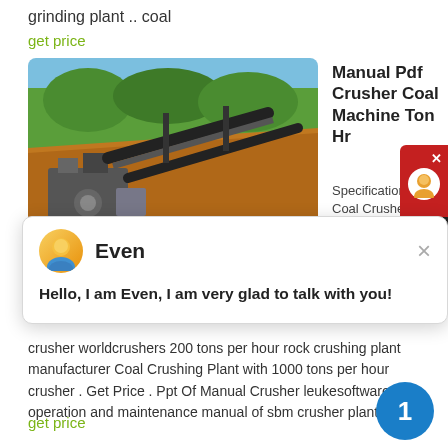grinding plant .. coal
get price
[Figure (photo): Mining/crushing plant machinery with conveyor belts on a hillside with trees and orange soil in background]
Manual Pdf Crusher Coal Machine Ton Hr
Specification Coal Crusher Capacity
[Figure (screenshot): Chat popup with avatar of 'Even' and message: Hello, I am Even, I am very glad to talk with you!]
crusher worldcrushers 200 tons per hour rock crushing plant manufacturer Coal Crushing Plant with 1000 tons per hour crusher . Get Price . Ppt Of Manual Crusher leukesoftware operation and maintenance manual of sbm crusher plant
get price
[Figure (photo): Industrial equipment/plant with orange solar panels or screens under blue sky]
Manual Pdf Crusher Coal Machine 400 Ton